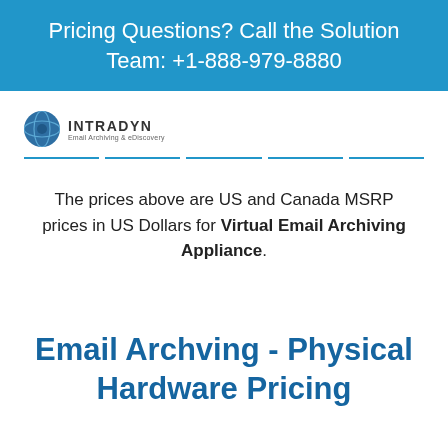Pricing Questions? Call the Solution Team: +1-888-979-8880
[Figure (logo): Intradyn logo with globe icon and tagline 'Email Archiving & eDiscovery']
The prices above are US and Canada MSRP prices in US Dollars for Virtual Email Archiving Appliance.
Email Archving - Physical Hardware Pricing